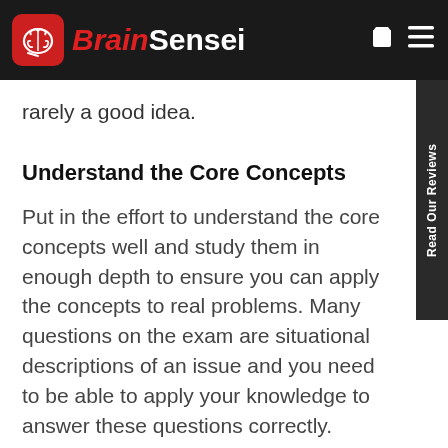BrainSensei
rarely a good idea.
Understand the Core Concepts
Put in the effort to understand the core concepts well and study them in enough depth to ensure you can apply the concepts to real problems. Many questions on the exam are situational descriptions of an issue and you need to be able to apply your knowledge to answer these questions correctly.